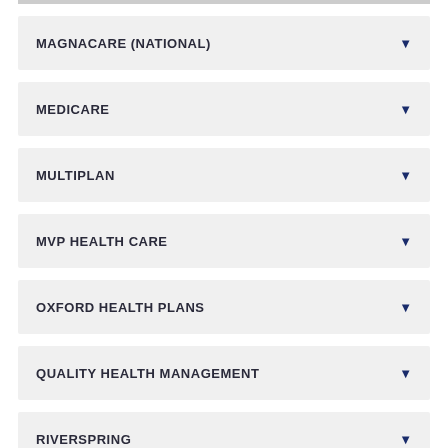MAGNACARE (NATIONAL)
MEDICARE
MULTIPLAN
MVP HEALTH CARE
OXFORD HEALTH PLANS
QUALITY HEALTH MANAGEMENT
RIVERSPRING